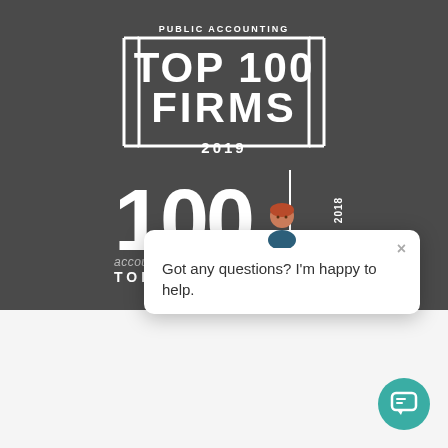[Figure (logo): Public Accounting Top 100 Firms 2019 badge with bracket design on dark gray background]
[Figure (logo): Accounting Today Top 100 Firms 2018 badge with large '100' text and vertical 2018 year label]
We use cookies to optimize ou
Accept
Cookie Policy   Privacy Policy
Got any questions? I'm happy to help.
[Figure (illustration): Chat bot avatar and chat interface button in teal color]